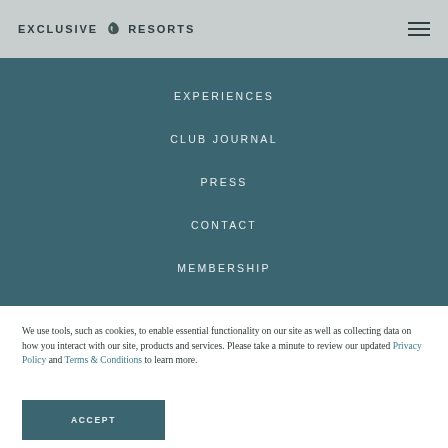EXCLUSIVE RESORTS
EXPERIENCES
CLUB JOURNAL
PRESS
CONTACT
MEMBERSHIP
We use tools, such as cookies, to enable essential functionality on our site as well as collecting data on how you interact with our site, products and services. Please take a minute to review our updated Privacy Policy and Terms & Conditions to learn more.
ACCEPT